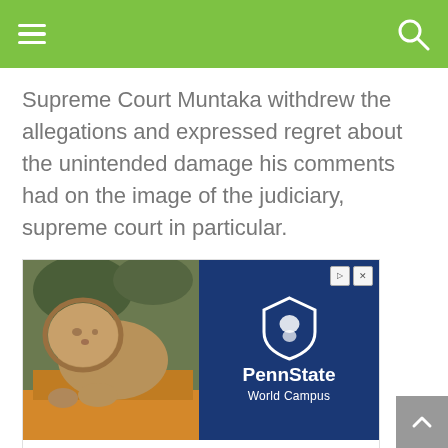Navigation header with menu and search icons
Supreme Court Muntaka withdrew the allegations and expressed regret about the unintended damage his comments had on the image of the judiciary, supreme court in particular.
[Figure (illustration): Penn State World Campus advertisement banner featuring a lion statue on the left and a blue panel with Penn State shield logo and text 'PennState World Campus' on the right. Below is white space with text 'Become Part of the Pride'.]
Become Part of the Pride